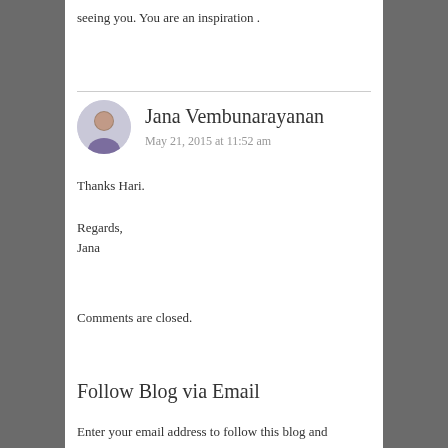seeing you. You are an inspiration .
Jana Vembunarayanan
May 21, 2015 at 11:52 am
Thanks Hari.

Regards,
Jana
Comments are closed.
Follow Blog via Email
Enter your email address to follow this blog and